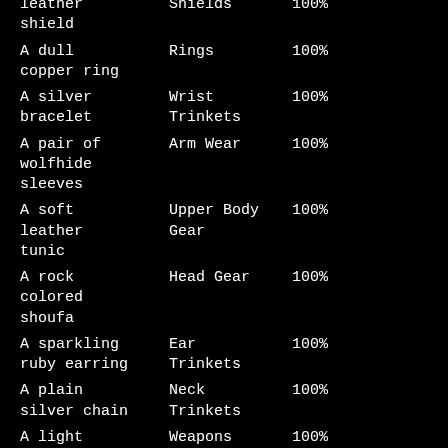| leather shield | Shields | 100% |
| A dull copper ring | Rings | 100% |
| A silver bracelet | Wrist Trinkets | 100% |
| A pair of wolfhide sleeves | Arm Wear | 100% |
| A soft leather tunic | Upper Body Gear | 100% |
| A rock colored shoufa | Head Gear | 100% |
| A sparkling ruby earring | Ear Trinkets | 100% |
| A plain silver chain | Neck Trinkets | 100% |
| A light steel spear | Weapons | 100% |
| An iron throwing spear | Weapons | 100% |